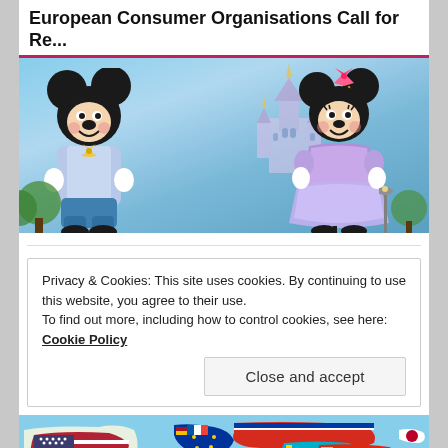European Consumer Organisations Call for Re...
[Figure (photo): Mickey Mouse and Minnie Mouse characters in festive 50th anniversary outfits standing in front of Cinderella Castle at a Disney theme park]
Privacy & Cookies: This site uses cookies. By continuing to use this website, you agree to their use.
To find out more, including how to control cookies, see here: Cookie Policy
Close and accept
[Figure (map): World map with country flags overlaid on each country's territory, showing North America, Europe, Asia, Africa and other regions]